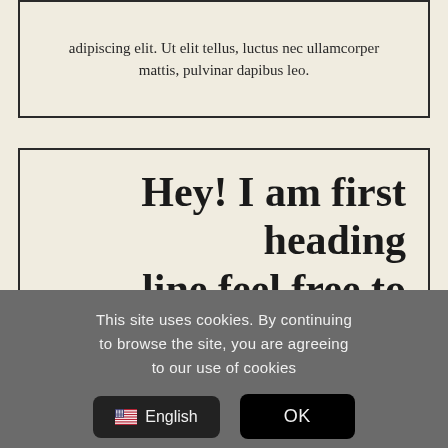adipiscing elit. Ut elit tellus, luctus nec ullamcorper mattis, pulvinar dapibus leo.
Hey! I am first heading line feel free to change me
This site uses cookies. By continuing to browse the site, you are agreeing to our use of cookies
English
OK